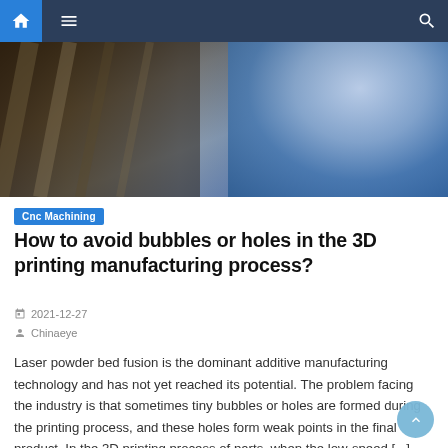Navigation bar with home, menu, and search icons
[Figure (photo): Close-up photo of industrial machinery or 3D printing equipment with blue tones, showing metallic and fabric-like surfaces]
Cnc Machining
How to avoid bubbles or holes in the 3D printing manufacturing process?
2021-12-27
Chinaeye
Laser powder bed fusion is the dominant additive manufacturing technology and has not yet reached its potential. The problem facing the industry is that sometimes tiny bubbles or holes are formed during the printing process, and these holes form weak points in the final product. In the 3D printing process of parts, when the low-speed [...]